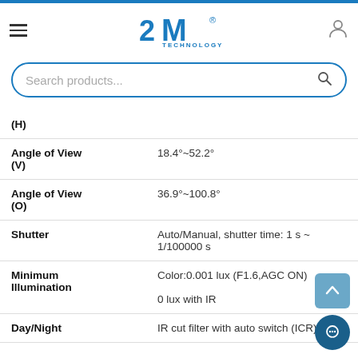2M Technology
| Specification | Value |
| --- | --- |
| Angle of View (H) |  |
| Angle of View (V) | 18.4°~52.2° |
| Angle of View (O) | 36.9°~100.8° |
| Shutter | Auto/Manual, shutter time: 1 s ~ 1/100000 s |
| Minimum Illumination | Color:0.001 lux (F1.6,AGC ON)
0 lux with IR |
| Day/Night | IR cut filter with auto switch (ICR) |